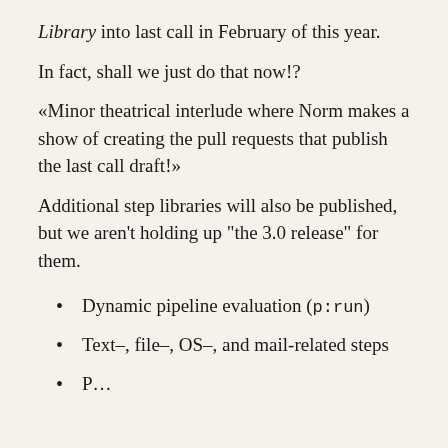Library into last call in February of this year.
In fact, shall we just do that now!?
«Minor theatrical interlude where Norm makes a show of creating the pull requests that publish the last call draft!»
Additional step libraries will also be published, but we aren't holding up "the 3.0 release" for them.
Dynamic pipeline evaluation (p:run)
Text–, file–, OS–, and mail-related steps
Paused pending ... (XSL-FO + CSS)